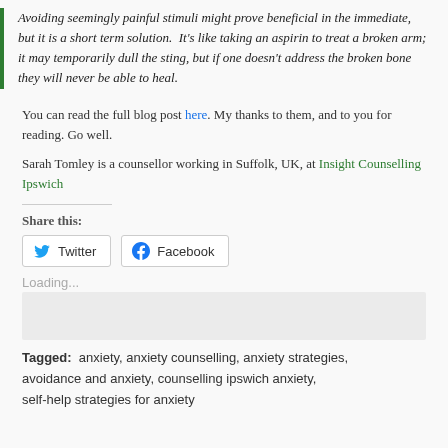Avoiding seemingly painful stimuli might prove beneficial in the immediate, but it is a short term solution. It's like taking an aspirin to treat a broken arm; it may temporarily dull the sting, but if one doesn't address the broken bone they will never be able to heal.
You can read the full blog post here. My thanks to them, and to you for reading. Go well.
Sarah Tomley is a counsellor working in Suffolk, UK, at Insight Counselling Ipswich
Share this:
[Figure (other): Twitter and Facebook share buttons]
Loading...
Tagged: anxiety, anxiety counselling, anxiety strategies, avoidance and anxiety, counselling ipswich anxiety, self-help strategies for anxiety